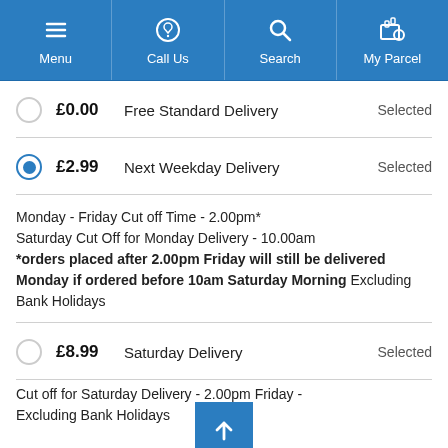Menu | Call Us | Search | My Parcel
£0.00  Free Standard Delivery  Selected
£2.99  Next Weekday Delivery  Selected
Monday - Friday Cut off Time - 2.00pm*
Saturday Cut Off for Monday Delivery - 10.00am
*orders placed after 2.00pm Friday will still be delivered Monday if ordered before 10am Saturday Morning Excluding Bank Holidays
£8.99  Saturday Delivery  Selected
Cut off for Saturday Delivery - 2.00pm Friday - Excluding Bank Holidays